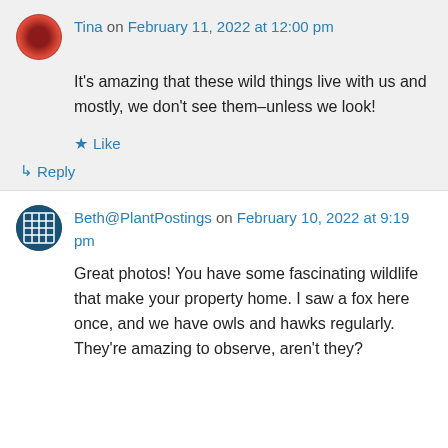[Figure (photo): Avatar image for Tina – circular dark red/black sunflower-like photo]
Tina on February 11, 2022 at 12:00 pm
It's amazing that these wild things live with us and mostly, we don't see them–unless we look!
★ Like
↳ Reply
[Figure (logo): Avatar image for Beth@PlantPostings – blue grid/plant icon]
Beth@PlantPostings on February 10, 2022 at 9:19 pm
Great photos! You have some fascinating wildlife that make your property home. I saw a fox here once, and we have owls and hawks regularly. They're amazing to observe, aren't they?